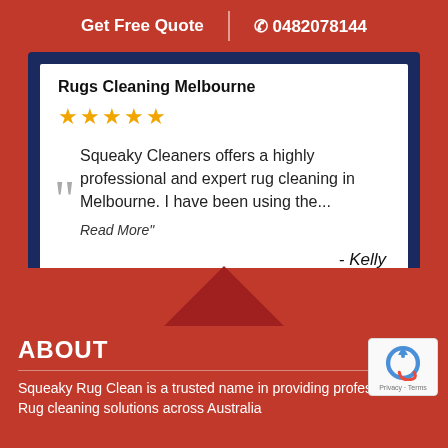Get Free Quote | 0482078144
Rugs Cleaning Melbourne
★★★★★
Squeaky Cleaners offers a highly professional and expert rug cleaning in Melbourne. I have been using the...
Read More"
- Kelly
ABOUT
Squeaky Rug Clean is a trusted name in providing professional Rug cleaning solutions across Australia